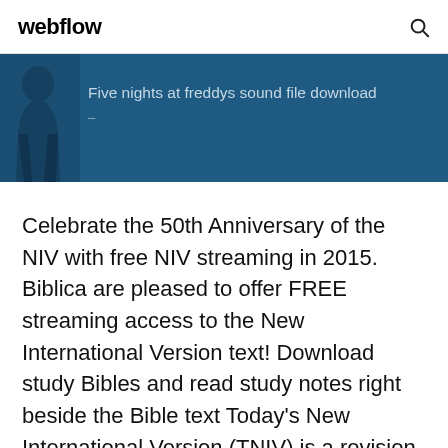webflow
[Figure (illustration): Dark blue banner with a silhouette figure on the left and text 'Five nights at freddys sound file download' on the right]
Celebrate the 50th Anniversary of the NIV with free NIV streaming in 2015. Biblica are pleased to offer FREE streaming access to the New International Version text! Download study Bibles and read study notes right beside the Bible text Today's New International Version (TNIV) is a revision of the New. International Covenant,